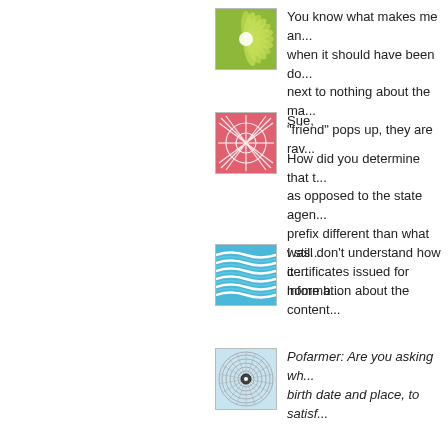[Figure (illustration): Green flower/leaf pattern avatar icon]
You know what makes me angry? When work is done when it should have been done. They know next to nothing about the ma... "friend" pops up, they are rav...
[Figure (illustration): Red abstract line pattern avatar icon]
Sue,

How did you determine that th... as opposed to the state agen... prefix different than what was... certificates issued for home b...
[Figure (illustration): Blue wavy pattern avatar icon]
I still don't understand how it... information about the content...
[Figure (illustration): Light blue spiral/mandala pattern avatar icon]
Pofarmer: Are you asking wh... birth date and place, to satisf...